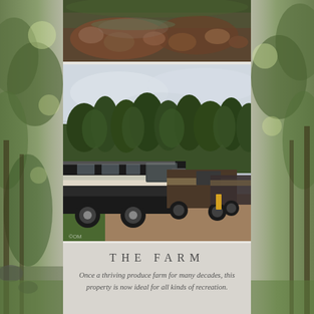[Figure (photo): Top photo showing rocky muddy ground with reddish-brown rocks and wet soil]
[Figure (photo): Large RV motorhomes parked on a gravel path with green lawn and trees in background on an overcast day]
THE FARM
Once a thriving produce farm for many decades, this property is now ideal for all kinds of recreation.